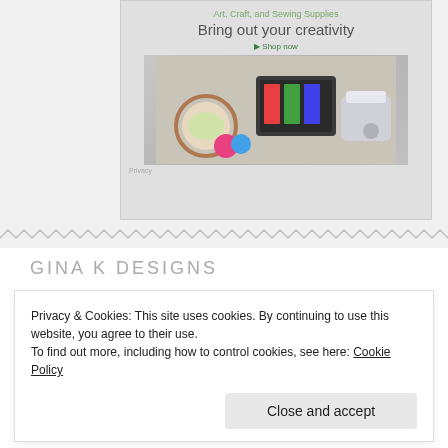[Figure (screenshot): Advertisement banner for Art, Craft, and Sewing Supplies with text 'Bring out your creativity' and 'Shop now' link, with product images]
GINA K DESIGNS
[Figure (logo): Gina K. Designs orange logo with dashed border showing 'gina k. DESIGNS' text and website URL www.ginakdesigns.com on blue bar]
Privacy & Cookies: This site uses cookies. By continuing to use this website, you agree to their use.
To find out more, including how to control cookies, see here: Cookie Policy
Close and accept